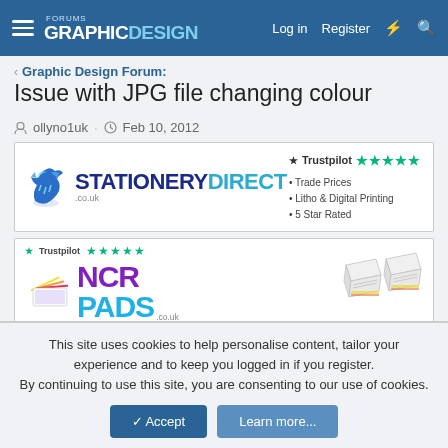Graphic Design Forums — Log in  Register
Graphic Design Forum:
Issue with JPG file changing colour
ollyno1uk · Feb 10, 2012
[Figure (other): Stationery Direct advertisement banner with Trustpilot 5-star rating, Trade Prices, Litho & Digital Printing, 5 Star Rated]
[Figure (other): NCR Pads advertisement banner with Trustpilot 5-star rating and product images]
ollyno1uk — New Member
This site uses cookies to help personalise content, tailor your experience and to keep you logged in if you register. By continuing to use this site, you are consenting to our use of cookies.